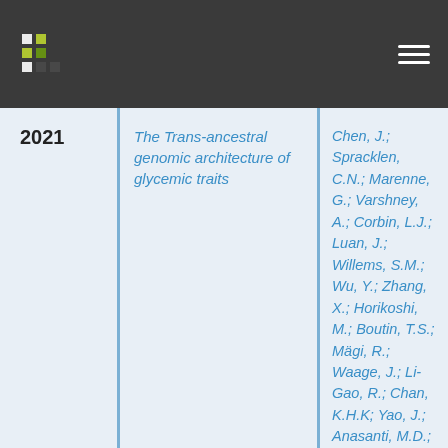| Year | Title | Authors |
| --- | --- | --- |
| 2021 | The Trans-ancestral genomic architecture of glycemic traits | Chen, J.; Spracklen, C.N.; Marenne, G.; Varshney, A.; Corbin, L.J.; Luan, J.; Willems, S.M.; Wu, Y.; Zhang, X.; Horikoshi, M.; Boutin, T.S.; Mägi, R.; Waage, J.; Li-Gao, R.; Chan, K.H.K; Yao, J.; Anasanti, M.D.; Chu, A.Y.; Claringbould, A.; Heikkinen, J.; Hong, J.; Hottenga, J.J.; Huo, S.; Kaakinen, M.A.; Louie, T.; März, W.; Moreno-Macias, H.; Ndungu, A.; Nelson, S.C.; Nolte, I.M.; North, K.E.; |